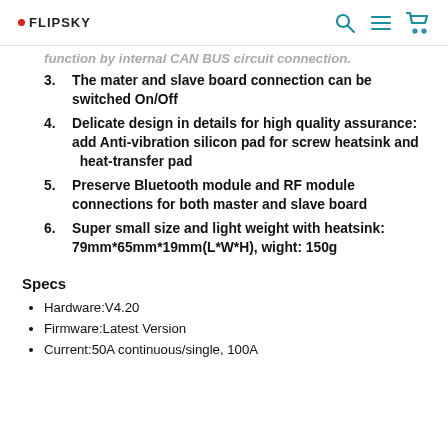FLIPSKY [search icon] [menu icon] [cart icon]
function by internal CAN BUS circuit connection.
The mater and slave board connection can be switched On/Off
Delicate design in details for high quality assurance: add Anti-vibration silicon pad for screw heatsink and heat-transfer pad
Preserve Bluetooth module and RF module connections for both master and slave board
Super small size and light weight with heatsink: 79mm*65mm*19mm(L*W*H), wight: 150g
Specs
Hardware:V4.20
Firmware:Latest Version
Current:50A continuous/single, 100A